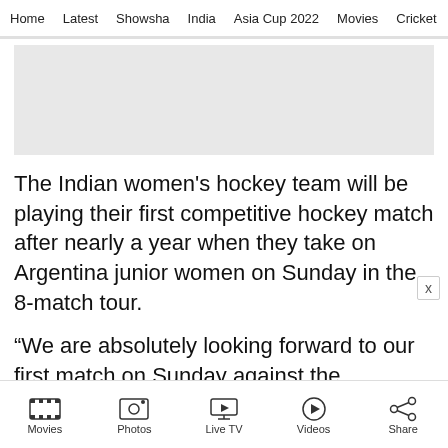Home  Latest  Showsha  India  Asia Cup 2022  Movies  Cricket
[Figure (other): Gray advertisement placeholder box]
The Indian women's hockey team will be playing their first competitive hockey match after nearly a year when they take on Argentina junior women on Sunday in the 8-match tour.
“We are absolutely looking forward to our first match on Sunday against the Argentina junior women team. This week, we will be getting fo
Movies  Photos  Live TV  Videos  Share